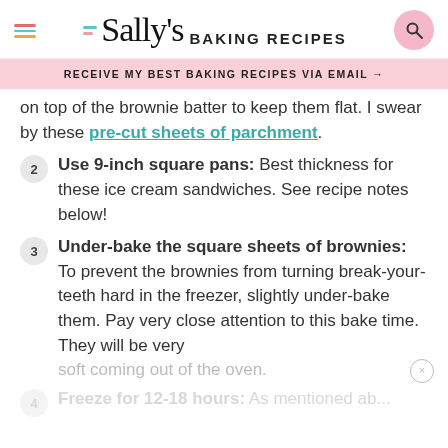Sally's Baking Recipes
RECEIVE MY BEST BAKING RECIPES VIA EMAIL →
on top of the brownie batter to keep them flat. I swear by these pre-cut sheets of parchment.
2 Use 9-inch square pans: Best thickness for these ice cream sandwiches. See recipe notes below!
3 Under-bake the square sheets of brownies: To prevent the brownies from turning break-your-teeth hard in the freezer, slightly under-bake them. Pay very close attention to this bake time. They will be very soft coming out of the oven.
4 Freeze for 12-18 hours: As mentioned ab...